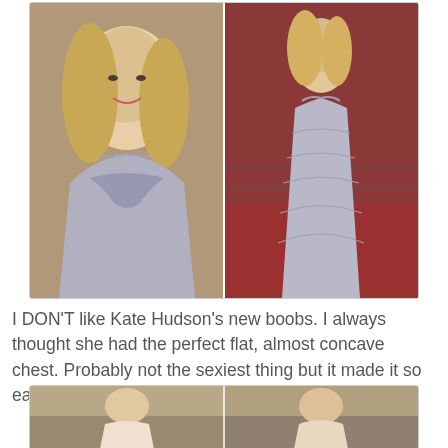[Figure (photo): Two side-by-side photos of a blonde woman in a silver/grey textured strapless gown. Left photo is a close-up face/upper body shot; right photo shows the full-length gown on a red carpet.]
I DON'T like Kate Hudson's new boobs. I always thought she had the perfect flat, almost concave chest. Probably not the sexiest thing but it made it so easy to wear clothes.
[Figure (photo): Two side-by-side photos of women in light-colored gowns at what appears to be a red carpet event.]